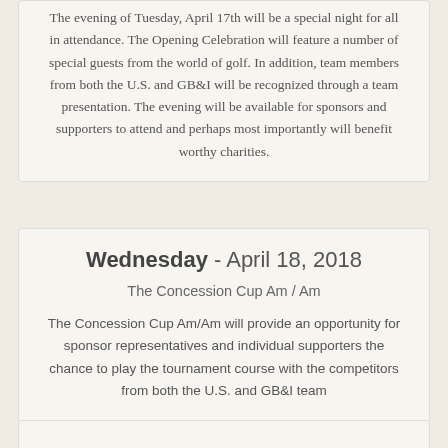The evening of Tuesday, April 17th will be a special night for all in attendance. The Opening Celebration will feature a number of special guests from the world of golf. In addition, team members from both the U.S. and GB&I will be recognized through a team presentation. The evening will be available for sponsors and supporters to attend and perhaps most importantly will benefit worthy charities.
Wednesday - April 18, 2018
The Concession Cup Am / Am
The Concession Cup Am/Am will provide an opportunity for sponsor representatives and individual supporters the chance to play the tournament course with the competitors from both the U.S. and GB&I team